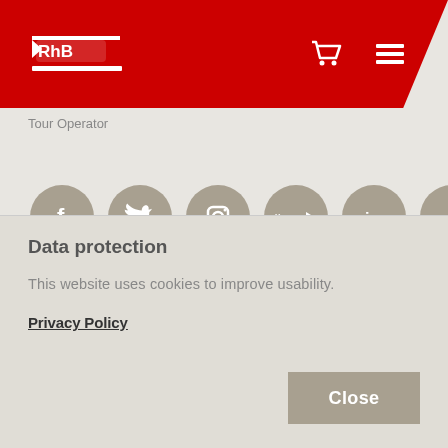RhB logo header with cart and menu icons
Tour Operator
[Figure (infographic): Six circular grey social media icons in a row: Facebook, Twitter, Instagram, YouTube, LinkedIn, XING]
[Figure (infographic): Two partial circular grey icons in a second row (RSS feed and another icon), partially visible]
Data protection
This website uses cookies to improve usability.
Privacy Policy
Close